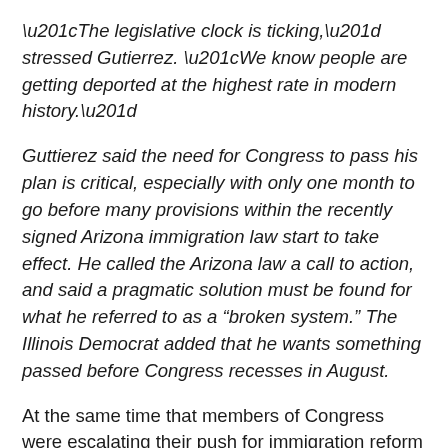“The legislative clock is ticking,” stressed Gutierrez. “We know people are getting deported at the highest rate in modern history.”
Guttierez said the need for Congress to pass his plan is critical, especially with only one month to go before many provisions within the recently signed Arizona immigration law start to take effect. He called the Arizona law a call to action, and said a pragmatic solution must be found for what he referred to as a “broken system.” The Illinois Democrat added that he wants something passed before Congress recesses in August.
At the same time that members of Congress were escalating their push for immigration reform this year, some unlikely allies were publicly declaring their support for the measure. CEO’s of major corporations like Hewlett